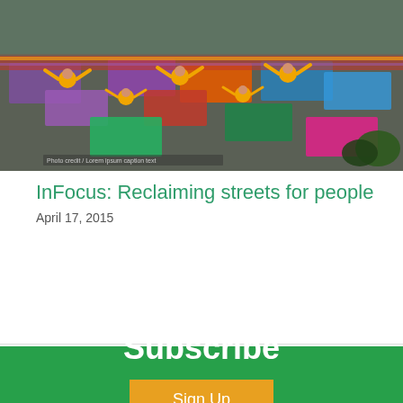[Figure (photo): Aerial/overhead view of people doing yoga on colorful mats outdoors on a street or plaza. People wearing yellow shirts are visible doing yoga poses. Colorful mats in purple, orange, red, blue are spread across the ground.]
InFocus: Reclaiming streets for people
April 17, 2015
More News >
Subscribe
Sign Up